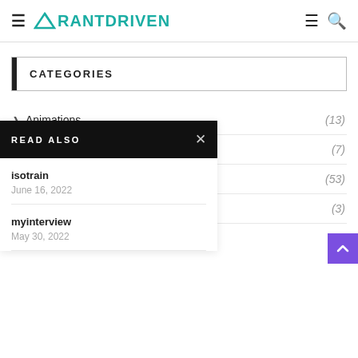RANTDRIVEN
CATEGORIES
Animations (13)
READ ALSO
isotrain
June 16, 2022
myinterview
May 30, 2022
(7)
(53)
(3)